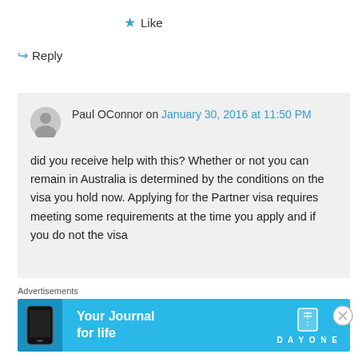★ Like
↪ Reply
Paul OConnor on January 30, 2016 at 11:50 PM
did you receive help with this? Whether or not you can remain in Australia is determined by the conditions on the visa you hold now. Applying for the Partner visa requires meeting some requirements at the time you apply and if you do not the visa
Advertisements
[Figure (screenshot): Advertisement banner: Your Journal for life — Day One app]